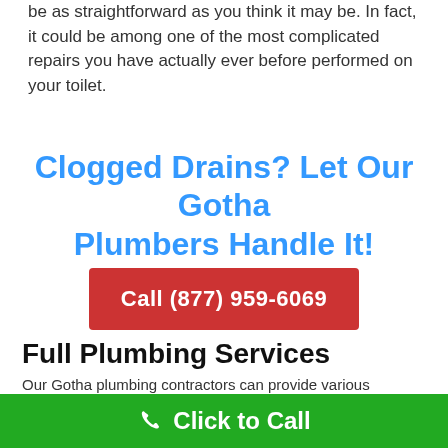be as straightforward as you think it may be. In fact, it could be among one of the most complicated repairs you have actually ever before performed on your toilet.
Clogged Drains? Let Our Gotha Plumbers Handle It!
Call (877) 959-6069
Full Plumbing Services
Our Gotha plumbing contractors can provide various services, which are listed here.
Drain Cleaning
Click to Call